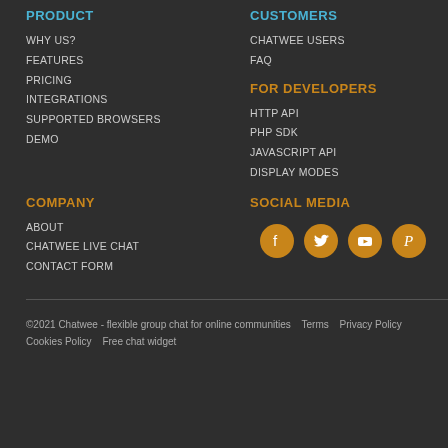PRODUCT
WHY US?
FEATURES
PRICING
INTEGRATIONS
SUPPORTED BROWSERS
DEMO
CUSTOMERS
CHATWEE USERS
FAQ
FOR DEVELOPERS
HTTP API
PHP SDK
JAVASCRIPT API
DISPLAY MODES
COMPANY
ABOUT
CHATWEE LIVE CHAT
CONTACT FORM
SOCIAL MEDIA
[Figure (infographic): Social media icons: Facebook, Twitter, YouTube, Pinterest]
©2021 Chatwee - flexible group chat for online communities   Terms   Privacy Policy   Cookies Policy   Free chat widget